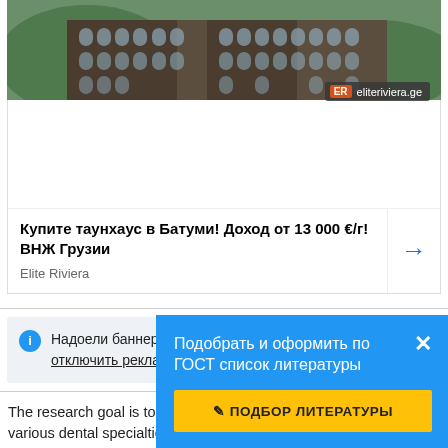[Figure (photo): Aerial or eye-level photo of a modern multi-story building with arched windows, surrounded by greenery and hills in the background.]
[Figure (screenshot): Advertisement card for Elite Riviera real estate: 'Купите таунхаус в Батуми! Доход от 13 000 €/г!ВНЖ Грузии' with a right-arrow button and eliteriviera.ge logo badge.]
Купите таунхаус в Батуми! Доход от 13 000 €/г!ВНЖ Грузии
Elite Riviera
Надоели баннеры? Вы всегда можете отключить рекламу.
Подобрать и оформить по ГОСТ список литературы
✎ ПОДБОР ЛИТЕРАТУРЫ
The research goal is to assess medical doctors knowledge of the various dental specialties and to